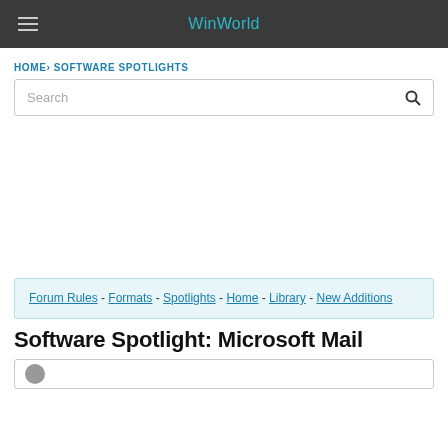WinWorld
HOME › SOFTWARE SPOTLIGHTS
Search
[Figure (other): Advertisement area (blank)]
Forum Rules - Formats - Spotlights - Home - Library - New Additions
Software Spotlight: Microsoft Mail